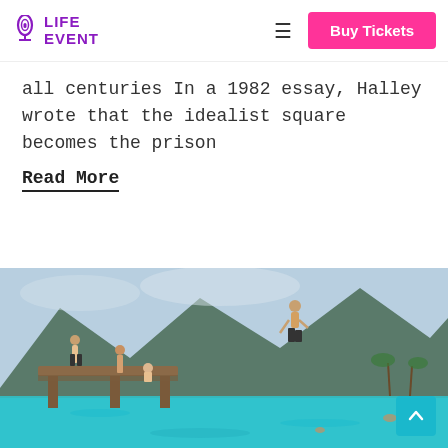LIFE EVENT | Buy Tickets
all centuries In a 1982 essay, Halley wrote that the idealist square becomes the prison
Read More
[Figure (photo): People jumping off a wooden pier into turquoise water with mountains in the background]